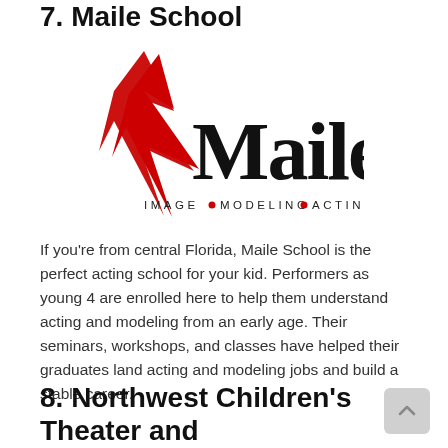7. Maile School
[Figure (logo): Maile School logo featuring a red star shape and cursive black 'Maile' text with tagline 'IMAGE • MODELING • ACTING' in spaced capital letters beneath]
If you're from central Florida, Maile School is the perfect acting school for your kid. Performers as young 4 are enrolled here to help them understand acting and modeling from an early age. Their seminars, workshops, and classes have helped their graduates land acting and modeling jobs and build a stable career.
8. Northwest Children's Theater and